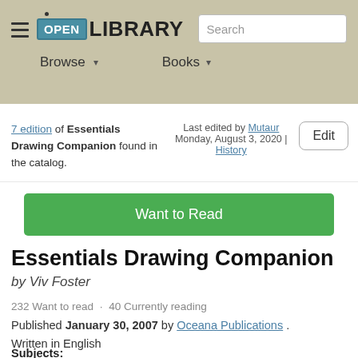Open Library — Browse | Books | Search
7 edition of Essentials Drawing Companion found in the catalog. Last edited by Mutaur Monday, August 3, 2020 | History
Want to Read
Essentials Drawing Companion
by Viv Foster
232 Want to read · 40 Currently reading
Published January 30, 2007 by Oceana Publications . Written in English
Subjects: